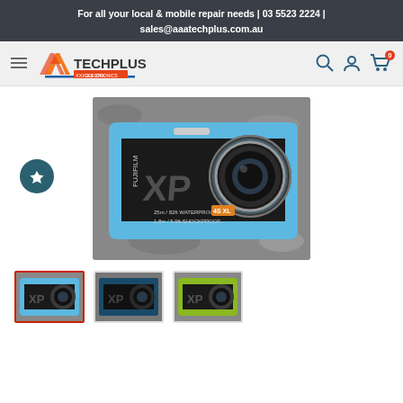For all your local & mobile repair needs | 03 5523 2224 | sales@aaatechplus.com.au
[Figure (logo): AAA TechPlus logo with electronics branding, hamburger menu, search icon, user icon, and cart icon with 0 badge]
[Figure (photo): Fujifilm XP series rugged waterproof camera in blue/black colorway, shown from front-right angle on rocky surface]
[Figure (photo): Thumbnail 1: Fujifilm XP camera blue colorway (selected, red border)]
[Figure (photo): Thumbnail 2: Fujifilm XP camera dark blue/navy colorway]
[Figure (photo): Thumbnail 3: Fujifilm XP camera lime/green colorway]